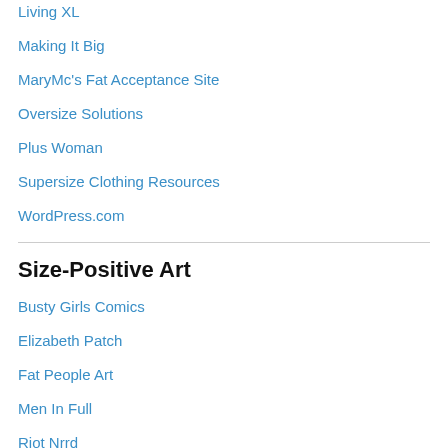Living XL
Making It Big
MaryMc's Fat Acceptance Site
Oversize Solutions
Plus Woman
Supersize Clothing Resources
WordPress.com
Size-Positive Art
Busty Girls Comics
Elizabeth Patch
Fat People Art
Men In Full
Riot Nrrd
The Adipositivity Project (NSFW)
Smart Writing On Fat and Life (But Not Fat Accepting)